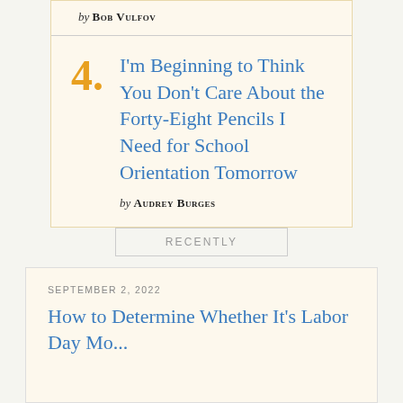by BOB VULFOV
I'm Beginning to Think You Don't Care About the Forty-Eight Pencils I Need for School Orientation Tomorrow
by AUDREY BURGES
RECENTLY
SEPTEMBER 2, 2022
How to Determine Whether It's Labor Day Mo...